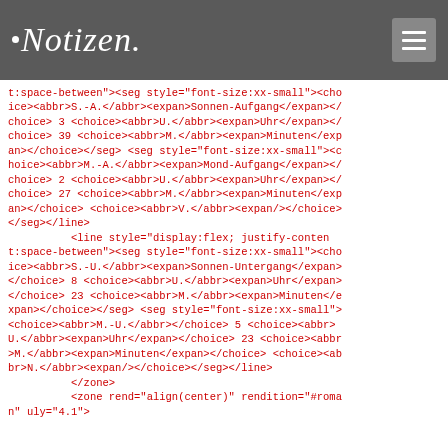Notizen
t:space-between"><seg style="font-size:xx-small"><choice><abbr>S.-A.</abbr><expan>Sonnen-Aufgang</expan></choice> 3 <choice><abbr>U.</abbr><expan>Uhr</expan></choice> 39 <choice><abbr>M.</abbr><expan>Minuten</expan></choice></seg> <seg style="font-size:xx-small"><choice><abbr>M.-A.</abbr><expan>Mond-Aufgang</expan></choice> 2 <choice><abbr>U.</abbr><expan>Uhr</expan></choice> 27 <choice><abbr>M.</abbr><expan>Minuten</expan></choice> <choice><abbr>V.</abbr><expan/></choice></seg></line>
          <line style="display:flex; justify-content:space-between"><seg style="font-size:xx-small"><choice><abbr>S.-U.</abbr><expan>Sonnen-Untergang</expan></choice> 8 <choice><abbr>U.</abbr><expan>Uhr</expan></choice> 23 <choice><abbr>M.</abbr><expan>Minuten</expan></choice></seg> <seg style="font-size:xx-small"><choice><abbr>M.-U.</abbr></choice> 5 <choice><abbr>U.</abbr><expan>Uhr</expan></choice> 23 <choice><abbr>M.</abbr><expan>Minuten</expan></choice> <choice><abbr>N.</abbr><expan/></choice></seg></line>
          </zone>
          <zone rend="align(center)" rendition="#roman" uly="4.1">